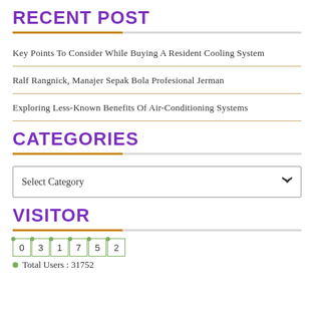RECENT POST
Key Points To Consider While Buying A Resident Cooling System
Ralf Rangnick, Manajer Sepak Bola Profesional Jerman
Exploring Less-Known Benefits Of Air-Conditioning Systems
CATEGORIES
Select Category
VISITOR
0 3 1 7 5 2
Total Users : 31752